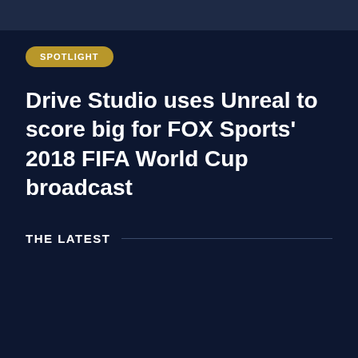[Figure (other): Dark navy top bar image placeholder]
SPOTLIGHT
Drive Studio uses Unreal to score big for FOX Sports’ 2018 FIFA World Cup broadcast
THE LATEST